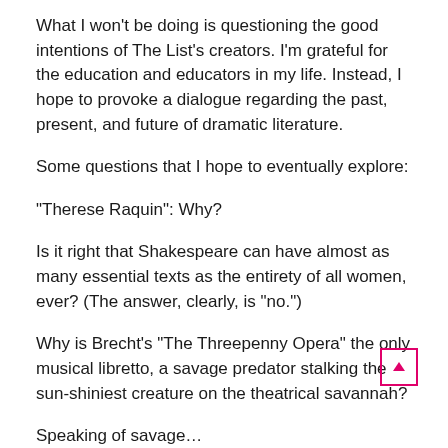What I won't be doing is questioning the good intentions of The List's creators. I'm grateful for the education and educators in my life. Instead, I hope to provoke a dialogue regarding the past, present, and future of dramatic literature.
Some questions that I hope to eventually explore:
“Therese Raquin”: Why?
Is it right that Shakespeare can have almost as many essential texts as the entirety of all women, ever? (The answer, clearly, is “no.”)
Why is Brecht’s “The Threepenny Opera” the only musical libretto, a savage predator stalking the sun-shiniest creature on the theatrical savannah?
Speaking of savage…